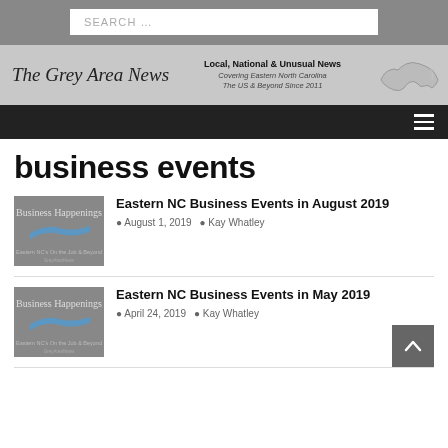SEARCH ...
[Figure (logo): The Grey Area News banner with site title, tagline 'Local, National & Unusual News, Covering Eastern North Carolina, The US & Beyond Since 2011', and NC state map outline]
business events
[Figure (photo): Business Happenings Eastern NC thumbnail image - grey background with blue NC map]
Eastern NC Business Events in August 2019
August 1, 2019   Kay Whatley
[Figure (photo): Business Happenings Eastern NC thumbnail image - grey background with blue NC map]
Eastern NC Business Events in May 2019
April 24, 2019   Kay Whatley